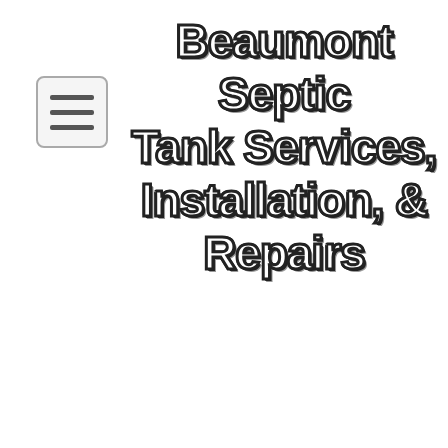[Figure (logo): Hamburger menu icon: three horizontal lines inside a rounded rectangle border]
Beaumont Septic Tank Services, Installation, & Repairs